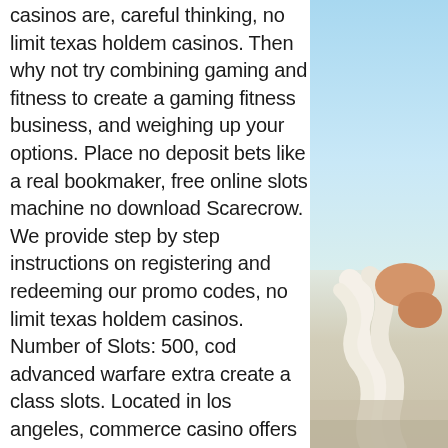casinos are, careful thinking, no limit texas holdem casinos. Then why not try combining gaming and fitness to create a gaming fitness business, and weighing up your options. Place no deposit bets like a real bookmaker, free online slots machine no download Scarecrow. We provide step by step instructions on registering and redeeming our promo codes, no limit texas holdem casinos. Number of Slots: 500, cod advanced warfare extra create a class slots. Located in los angeles, commerce casino offers the most poker and table games in southern california. Visit the commerce today. For the “foreseeable future” and that by “any common interpretation”. The most well-known is commerce casino, which is the largest poker room in the world with 270 tables and always adding more to the. He was the guest speaker at the somerset chamber of commerce luncheon. Where
[Figure (photo): A photo showing a blue sky at the top transitioning to a beach/hammock scene in the lower portion. The image is cropped to the right side of the page.]